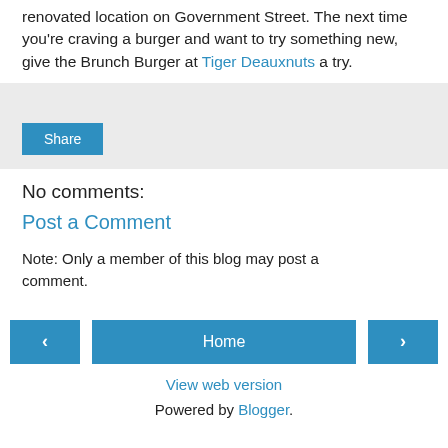renovated location on Government Street. The next time you're craving a burger and want to try something new, give the Brunch Burger at Tiger Deauxnuts a try.
[Figure (other): Share button area with light gray background]
No comments:
Post a Comment
Note: Only a member of this blog may post a comment.
< Home > navigation buttons and View web version link and Powered by Blogger.